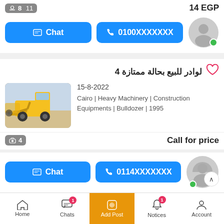8 11
14 EGP
Chat | 0100XXXXXXX
[Figure (screenshot): User avatar circle with online green dot]
لوادر للبيع بحالة ممتازة 4
[Figure (photo): Yellow wheel loader / bulldozer in construction site]
15-8-2022
Cairo | Heavy Machinery | Construction Equipments | Bulldozer | 1995
4
Call for price
Chat | 0114XXXXXXX
[Figure (photo): Second user avatar circle with online green dot and scroll-to-top button]
Home | Chats 1 | Add Post | Notices 1 | Account